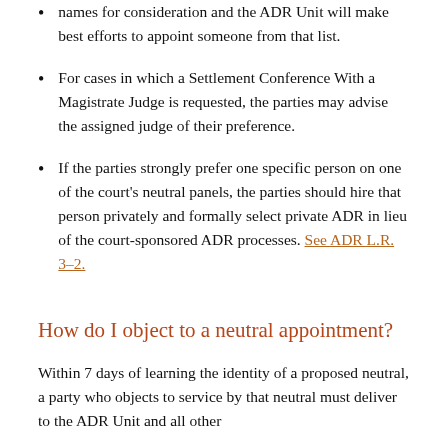names for consideration and the ADR Unit will make best efforts to appoint someone from that list.
For cases in which a Settlement Conference With a Magistrate Judge is requested, the parties may advise the assigned judge of their preference.
If the parties strongly prefer one specific person on one of the court’s neutral panels, the parties should hire that person privately and formally select private ADR in lieu of the court-sponsored ADR processes. See ADR L.R. 3-2.
How do I object to a neutral appointment?
Within 7 days of learning the identity of a proposed neutral, a party who objects to service by that neutral must deliver to the ADR Unit and all other